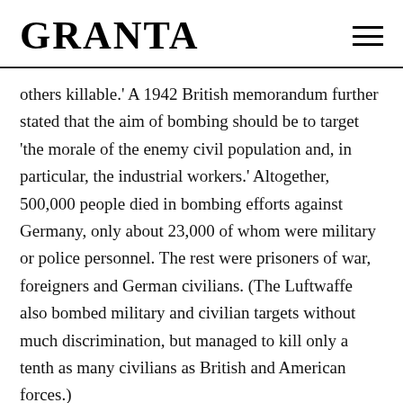GRANTA
others killable.' A 1942 British memorandum further stated that the aim of bombing should be to target 'the morale of the enemy civil population and, in particular, the industrial workers.' Altogether, 500,000 people died in bombing efforts against Germany, only about 23,000 of whom were military or police personnel. The rest were prisoners of war, foreigners and German civilians. (The Luftwaffe also bombed military and civilian targets without much discrimination, but managed to kill only a tenth as many civilians as British and American forces.)
Meanwhile, on the other side of the world, 900,000 Japanese citizens perished in wartime air attacks, more than the country's total number of combat deaths. When it came time to demonstrate a new kind of fire in August 1945, Hiroshima